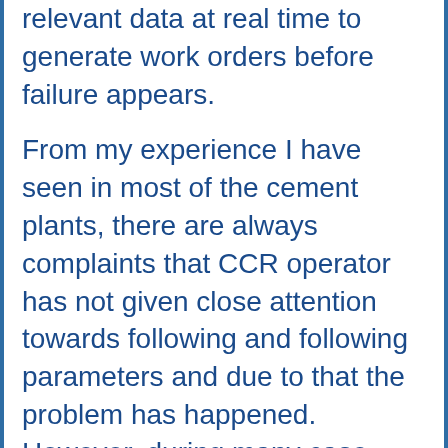relevant data at real time to generate work orders before failure appears.
From my experience I have seen in most of the cement plants, there are always complaints that CCR operator has not given close attention towards following and following parameters and due to that the problem has happened. However, during many case studies I have observed that either the parameters has less visibility/resolution to signify the process disturbances or the noise in the parameter is so high to keep operator from considering it reliable to take action. We need to increase visibility of parameters and express data in the most significant form, for example change in temperature of system...